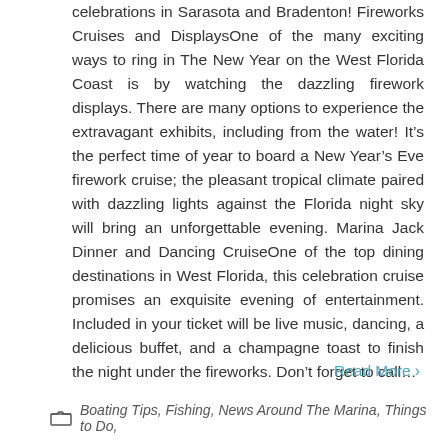celebrations in Sarasota and Bradenton! Fireworks Cruises and DisplaysOne of the many exciting ways to ring in The New Year on the West Florida Coast is by watching the dazzling firework displays. There are many options to experience the extravagant exhibits, including from the water! It’s the perfect time of year to board a New Year’s Eve firework cruise; the pleasant tropical climate paired with dazzling lights against the Florida night sky will bring an unforgettable evening. Marina Jack Dinner and Dancing CruiseOne of the top dining destinations in West Florida, this celebration cruise promises an exquisite evening of entertainment. Included in your ticket will be live music, dancing, a delicious buffet, and a champagne toast to finish the night under the fireworks. Don’t forget to call…
Read More >
Boating Tips, Fishing, News Around The Marina, Things to Do,